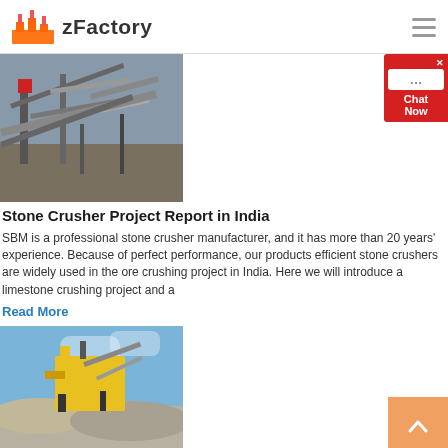zFactory
[Figure (photo): Stone crusher machinery at a quarry/mining site with industrial conveyor belts and steel structures]
Stone Crusher Project Report in India
SBM is a professional stone crusher manufacturer, and it has more than 20 years' experience. Because of perfect performance, our products efficient stone crushers are widely used in the ore crushing project in India. Here we will introduce a limestone crushing project and a
Read More
[Figure (photo): Basalt crushing plant with yellow heavy machinery and piles of crushed stone/gravel under blue sky]
basalt crushing plant in saudi arabia